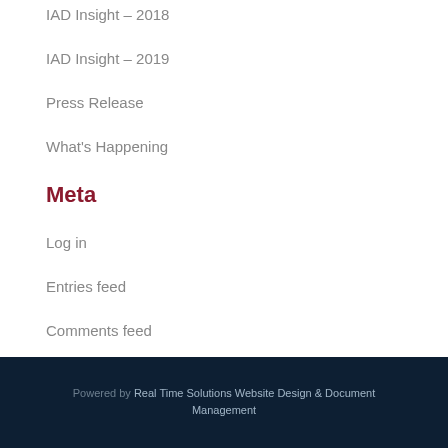IAD Insight – 2018
IAD Insight – 2019
Press Release
What's Happening
Meta
Log in
Entries feed
Comments feed
WordPress.org
Powered by Real Time Solutions Website Design & Document Management